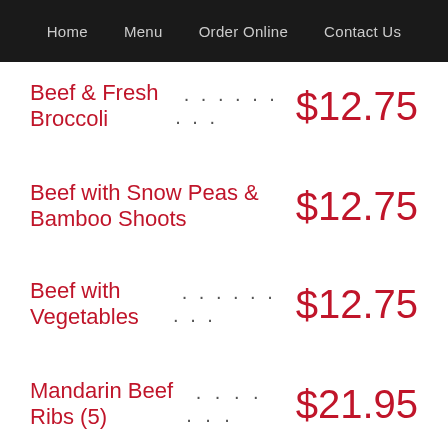Home   Menu   Order Online   Contact Us
Beef & Fresh Broccoli ………… $12.75
Beef with Snow Peas & Bamboo Shoots $12.75
Beef with Vegetables ………… $12.75
Mandarin Beef Ribs (5) ……… $21.95